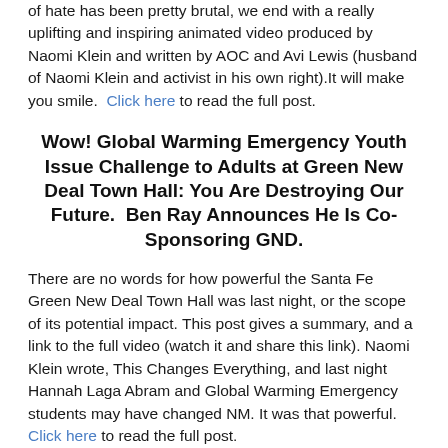...of hate has been pretty brutal, we end with a really uplifting and inspiring animated video produced by Naomi Klein and written by AOC and Avi Lewis (husband of Naomi Klein and activist in his own right).It will make you smile.  Click here to read the full post.
Wow! Global Warming Emergency Youth Issue Challenge to Adults at Green New Deal Town Hall: You Are Destroying Our Future.  Ben Ray Announces He Is Co-Sponsoring GND.
There are no words for how powerful the Santa Fe Green New Deal Town Hall was last night, or the scope of its potential impact. This post gives a summary, and a link to the full video (watch it and share this link). Naomi Klein wrote, This Changes Everything, and last night Hannah Laga Abram and Global Warming Emergency students may have changed NM. It was that powerful.  Click here to read the full post.
Finally, below we offer a powerful video  that provides the story of a national disgrace. The US declaration of the Four Corners